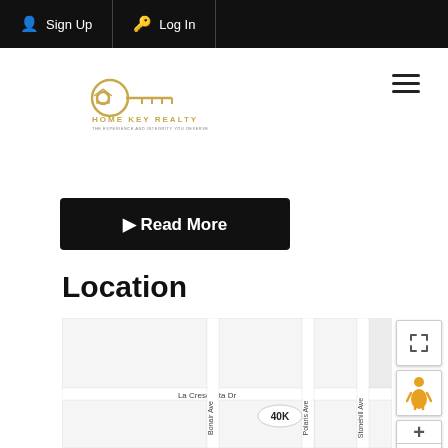Sign Up | Log In
[Figure (logo): Home Key Realty logo with golden key icon and text HOME KEY REALTY]
[Figure (screenshot): Read More button (dark/black background)]
Location
[Figure (map): Street map showing La Crescenta Dr, Bonair Ave, Polaris Ave, Stonehill Ave with a 40K price marker. Map controls include fullscreen, street view person icon, and zoom +/- buttons.]